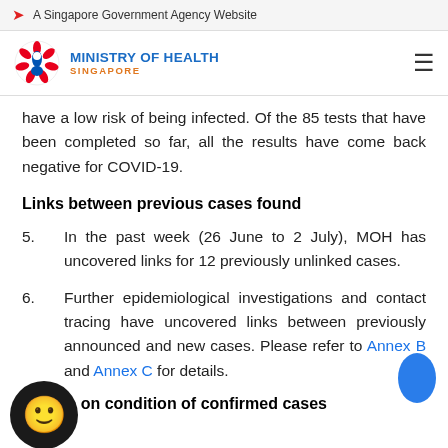A Singapore Government Agency Website
[Figure (logo): Ministry of Health Singapore logo with stylized flower/person icon, blue text MINISTRY OF HEALTH, orange text SINGAPORE, and hamburger menu icon]
have a low risk of being infected. Of the 85 tests that have been completed so far, all the results have come back negative for COVID-19.
Links between previous cases found
5.	In the past week (26 June to 2 July), MOH has uncovered links for 12 previously unlinked cases.
6.	Further epidemiological investigations and contact tracing have uncovered links between previously announced and new cases. Please refer to Annex B and Annex C for details.
Update on condition of confirmed cases